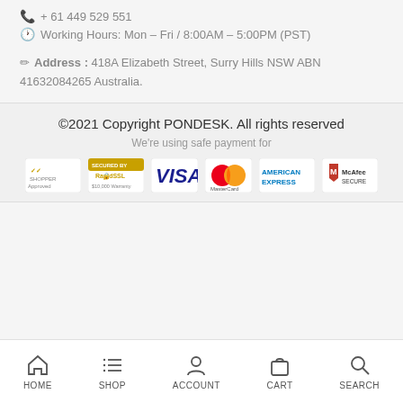+ 61 449 529 551
Working Hours: Mon - Fri / 8:00AM - 5:00PM (PST)
Address : 418A Elizabeth Street, Surry Hills NSW ABN 41632084265 Australia.
©2021 Copyright PONDESK. All rights reserved
We're using safe payment for
[Figure (logo): Payment method logos: Shopper Approved, RapidSSL Secured, Visa, MasterCard, American Express, McAfee Secure]
HOME  SHOP  ACCOUNT  CART  SEARCH